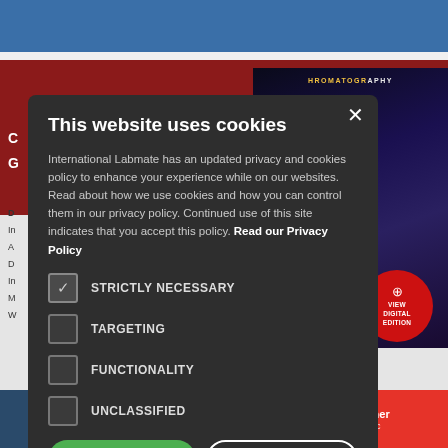[Figure (screenshot): Background webpage showing a science/chromatography magazine website with a red background section and magazine cover visible on the right side]
This website uses cookies
International Labmate has an updated privacy and cookies policy to enhance your experience while on our websites. Read about how we use cookies and how you can control them in our privacy policy. Continued use of this site indicates that you accept this policy. Read our Privacy Policy
STRICTLY NECESSARY
TARGETING
FUNCTIONALITY
UNCLASSIFIED
I AGREE
DECLINE ALL
SHOW DETAILS